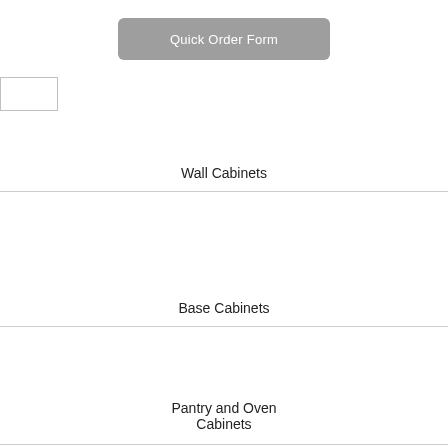Quick Order Form
[Figure (other): Empty input box / form field]
Wall Cabinets
Base Cabinets
Pantry and Oven Cabinets